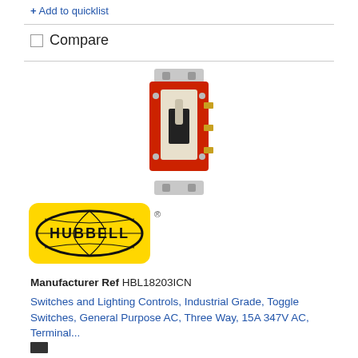+ Add to quicklist
Compare
[Figure (photo): Hubbell industrial toggle switch HBL18203ICN, shown with red body, ivory toggle, and metal mounting brackets top and bottom]
[Figure (logo): Hubbell logo — yellow rounded rectangle background with black oval containing globe motif and HUBBELL text, registered trademark symbol]
Manufacturer Ref HBL18203ICN
Switches and Lighting Controls, Industrial Grade, Toggle Switches, General Purpose AC, Three Way, 15A 347V AC, Terminal...
[Figure (other): Small dark cart/add-to-cart icon]